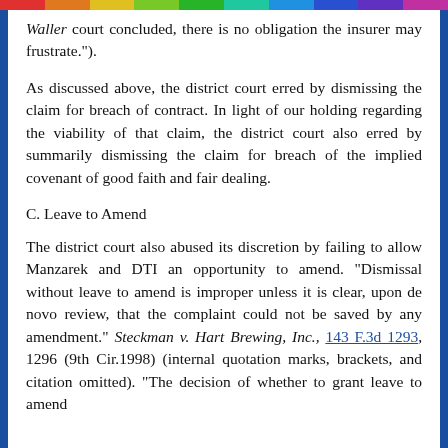Waller court concluded, there is no obligation the insurer may frustrate.").
As discussed above, the district court erred by dismissing the claim for breach of contract. In light of our holding regarding the viability of that claim, the district court also erred by summarily dismissing the claim for breach of the implied covenant of good faith and fair dealing.
C. Leave to Amend
The district court also abused its discretion by failing to allow Manzarek and DTI an opportunity to amend. "Dismissal without leave to amend is improper unless it is clear, upon de novo review, that the complaint could not be saved by any amendment." Steckman v. Hart Brewing, Inc., 143 F.3d 1293, 1296 (9th Cir.1998) (internal quotation marks, brackets, and citation omitted). "The decision of whether to grant leave to amend generally rests within the discretion of the